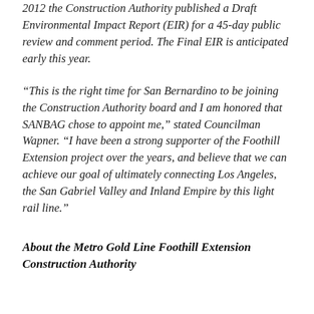2012 the Construction Authority published a Draft Environmental Impact Report (EIR) for a 45-day public review and comment period. The Final EIR is anticipated early this year.
“This is the right time for San Bernardino to be joining the Construction Authority board and I am honored that SANBAG chose to appoint me,” stated Councilman Wapner. “I have been a strong supporter of the Foothill Extension project over the years, and believe that we can achieve our goal of ultimately connecting Los Angeles, the San Gabriel Valley and Inland Empire by this light rail line.”
About the Metro Gold Line Foothill Extension Construction Authority